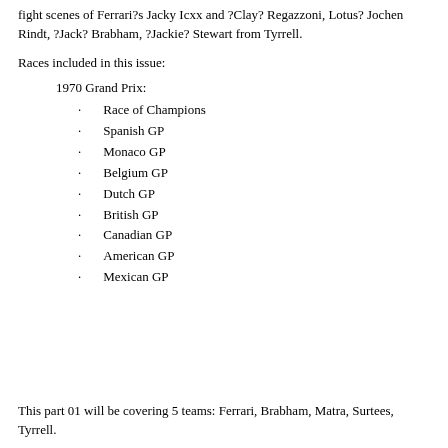fight scenes of Ferrari?s Jacky Icxx and ?Clay? Regazzoni, Lotus? Jochen Rindt, ?Jack? Brabham, ?Jackie? Stewart from Tyrrell.
Races included in this issue:
1970 Grand Prix:
Race of Champions
Spanish GP
Monaco GP
Belgium GP
Dutch GP
British GP
Canadian GP
American GP
Mexican GP
This part 01 will be covering 5 teams: Ferrari, Brabham, Matra, Surtees, Tyrrell.